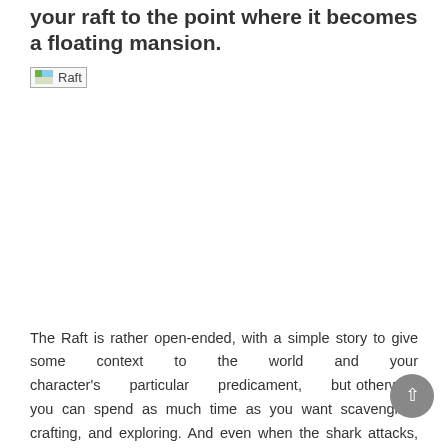your raft to the point where it becomes a floating mansion.
[Figure (photo): Broken/missing image placeholder labeled 'Raft']
The Raft is rather open-ended, with a simple story to give some context to the world and your character's particular predicament, but otherwise you can spend as much time as you want scavenging, crafting, and exploring. And even when the shark attacks, it's still not too scary, because The Raft has a friendly, slightly